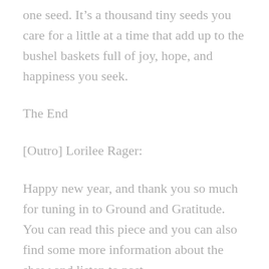one seed. It’s a thousand tiny seeds you care for a little at a time that add up to the bushel baskets full of joy, hope, and happiness you seek.
The End
[Outro] Lorilee Rager:
Happy new year, and thank you so much for tuning in to Ground and Gratitude. You can read this piece and you can also find some more information about the show and listen to past